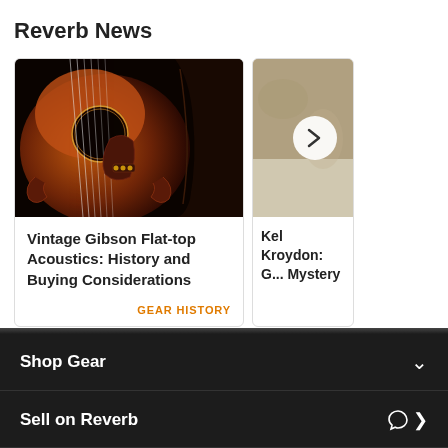Reverb News
[Figure (photo): Close-up photo of a vintage acoustic guitar body showing the soundhole, pickguard, strings and tuning hardware against a dark background]
Vintage Gibson Flat-top Acoustics: History and Buying Considerations
GEAR HISTORY
[Figure (photo): Partially visible second card showing a light/beige background with a circular arrow navigation button, belonging to an article titled Kel Kroydon: G... Mystery]
Kel Kroydon: G... Mystery
Shop Gear
Sell on Reverb